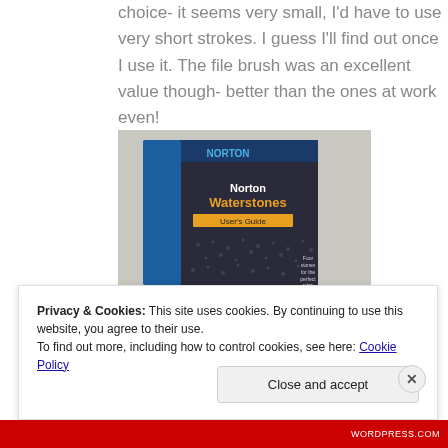choice- it seems very small, I'd have to use very short strokes. I guess I'll find out once I use it. The file brush was an excellent value though- better than the ones at work even!
[Figure (photo): Photo of a Norton Waterstones User's Guide booklet/package, dark cover with blue stripe and text, on a light background.]
Privacy & Cookies: This site uses cookies. By continuing to use this website, you agree to their use. To find out more, including how to control cookies, see here: Cookie Policy
Close and accept